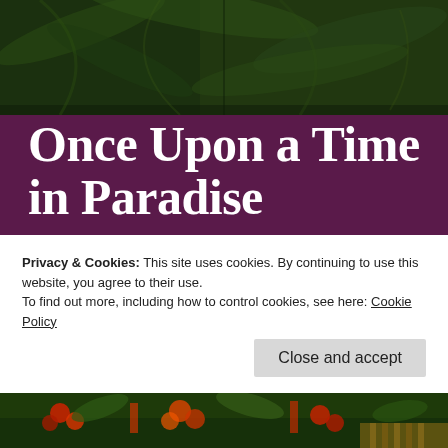[Figure (photo): Dense green tropical foliage/palm trees viewed from below, dark green canopy filling the frame]
Once Upon a Time in Paradise
Costa Rica, creation, Dreaming Reality, flowers, food, Memories, moments, mother nature, nature, photography, pura vida, Uncategorized, Villa Vanilla
Privacy & Cookies: This site uses cookies. By continuing to use this website, you agree to their use.
To find out more, including how to control cookies, see here: Cookie Policy
[Figure (photo): Bottom strip showing tropical plants with colorful fruits or flowers in reds and greens]